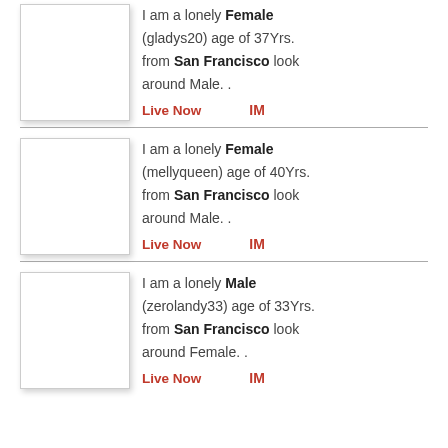[Figure (photo): Empty white avatar placeholder box with shadow for user gladys20]
I am a lonely Female (gladys20) age of 37Yrs. from San Francisco look around Male. .
Live Now   IM
[Figure (photo): Empty white avatar placeholder box with shadow for user mellyqueen]
I am a lonely Female (mellyqueen) age of 40Yrs. from San Francisco look around Male. .
Live Now   IM
[Figure (photo): Empty white avatar placeholder box with shadow for user zerolandy33]
I am a lonely Male (zerolandy33) age of 33Yrs. from San Francisco look around Female. .
Live Now   IM